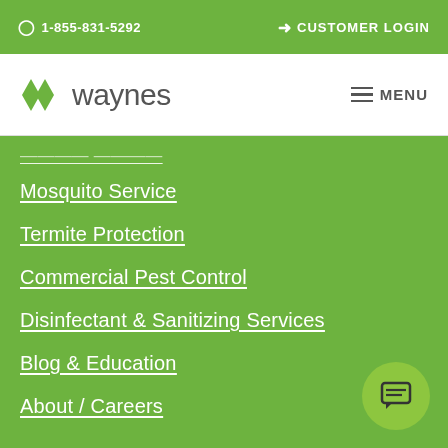1-855-831-5292   CUSTOMER LOGIN
[Figure (logo): Waynes pest control logo with green leaf/diamond shapes and the word 'waynes' in grey text]
Mosquito Service
Termite Protection
Commercial Pest Control
Disinfectant & Sanitizing Services
Blog & Education
About / Careers